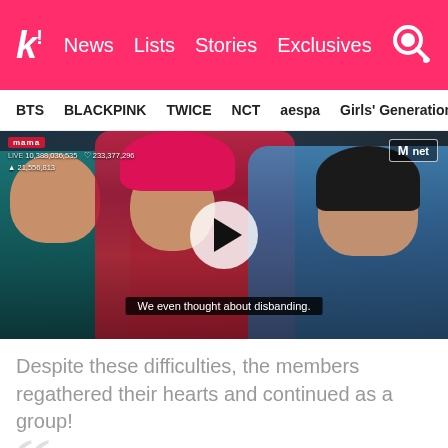Koreaboo - News | Lists | Stories | Exclusives
BTS   BLACKPINK   TWICE   NCT   aespa   Girls' Generation
[Figure (screenshot): Video thumbnail showing BTS members at MAMA awards with a play button overlay. A subtitle reads 'We even thought about disbanding.' Live stats and MAMA/Mnet logos visible.]
Despite these difficulties, the members regathered their hearts and continued as a group!
"